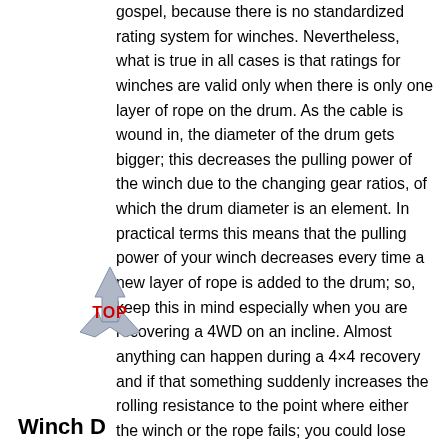gospel, because there is no standardized rating system for winches. Nevertheless, what is true in all cases is that ratings for winches are valid only when there is only one layer of rope on the drum. As the cable is wound in, the diameter of the drum gets bigger; this decreases the pulling power of the winch due to the changing gear ratios, of which the drum diameter is an element. In practical terms this means that the pulling power of your winch decreases every time a new layer of rope is added to the drum; so, keep this in mind especially when you are recovering a 4WD on an incline. Almost anything can happen during a 4×4 recovery and if that something suddenly increases the rolling resistance to the point where either the winch or the rope fails; you could lose your 4WD if it rolls back down the hill. You could also injure or kill people, so be careful, and always remember that a winch's pulling power is never constant; it decreases as the cable is wound in."
[Figure (logo): TOP logo — a star/arrow shape with the text TOP in red bold letters]
Winch D...